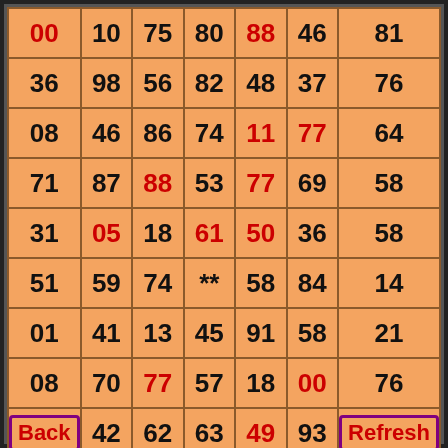| 00 | 10 | 75 | 80 | 88 | 46 | 81 |
| 36 | 98 | 56 | 82 | 48 | 37 | 76 |
| 08 | 46 | 86 | 74 | 11 | 77 | 64 |
| 71 | 87 | 88 | 53 | 77 | 69 | 58 |
| 31 | 05 | 18 | 61 | 50 | 36 | 58 |
| 51 | 59 | 74 | ** | 58 | 84 | 14 |
| 01 | 41 | 13 | 45 | 91 | 58 | 21 |
| 08 | 70 | 77 | 57 | 18 | 00 | 76 |
| Back | 42 | 62 | 63 | 49 | 93 | Refresh |